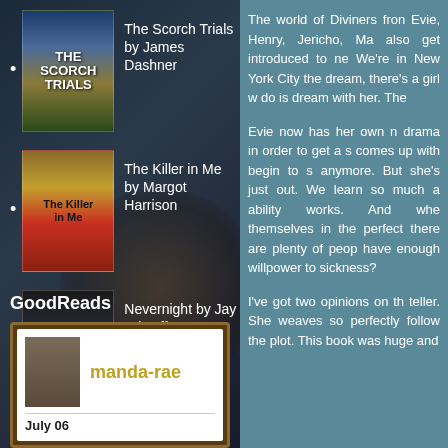The Scorch Trials by James Dashner
The Killer in Me by Margot Harrison
Nevernight by Jay Kristoff
GoodReads
manda-rae
July 06
The world of Diviners from Evie, Henry, Jericho, Ma also get introduced to ne We're in New York City the dream, there's a girl w do is dream with her. The
Evie now has her own m drama in order to get a s comes up with begin to s anymore. But she's just out. We learn so much a ability works. And whe themselves in the perfect there are plenty of peop have enough willpower to sickness?
I've got two opinions on th teller. She weaves so perfectly follow the plot. This book was huge and